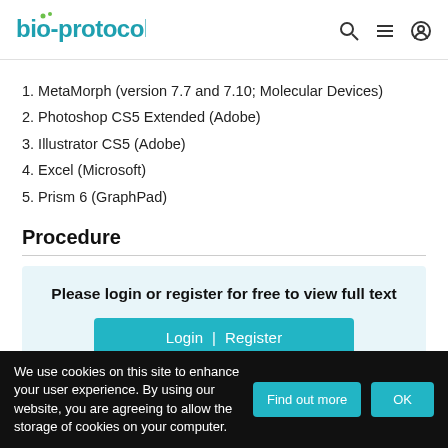bio-protocol
1. MetaMorph (version 7.7 and 7.10; Molecular Devices)
2. Photoshop CS5 Extended (Adobe)
3. Illustrator CS5 (Adobe)
4. Excel (Microsoft)
5. Prism 6 (GraphPad)
Procedure
Please login or register for free to view full text
Login | Register
We use cookies on this site to enhance your user experience. By using our website, you are agreeing to allow the storage of cookies on your computer.